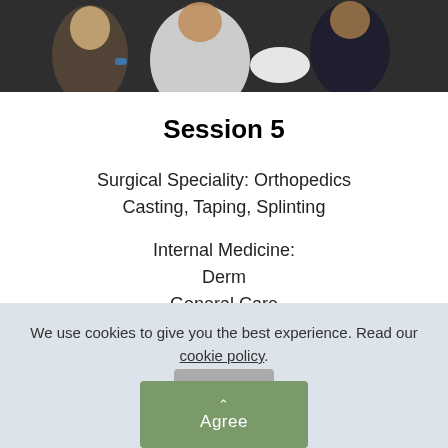[Figure (photo): Photo strip at top showing people, one with a white cast or bandage on arm, in a group setting]
Session 5
Surgical Speciality: Orthopedics
Casting, Taping, Splinting
Internal Medicine:
Derm
General Care
Pulmonolgy
Cast Removal
We use cookies to give you the best experience. Read our cookie policy.